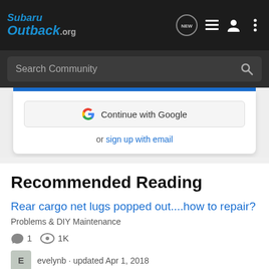SubaruOutback.org
Search Community
Continue with Google
or sign up with email
Recommended Reading
Rear cargo net lugs popped out....how to repair?
Problems & DIY Maintenance
1  1K
evelynb · updated Apr 1, 2018